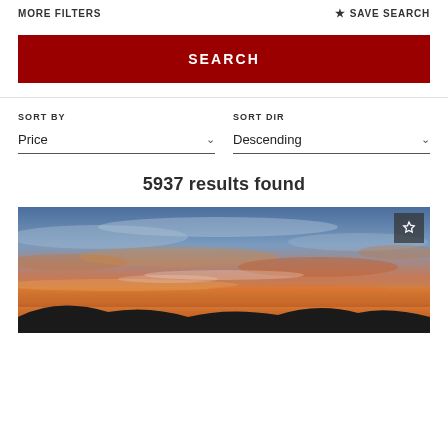MORE FILTERS
★ SAVE SEARCH
SEARCH
SORT BY
Price
SORT DIR
Descending
5937 results found
[Figure (photo): Sunset landscape photo showing dramatic orange, pink and blue sky with clouds and silhouetted hills at bottom]